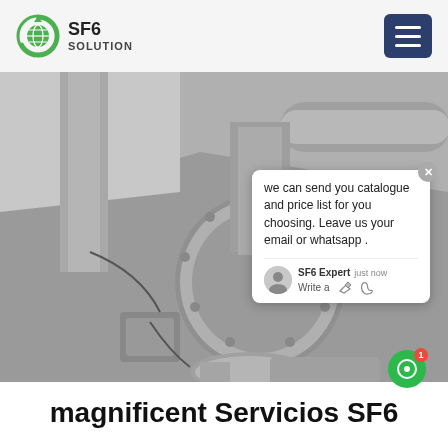[Figure (logo): SF6 Solution logo with green circular icon and bold text 'SF6 SOLUTION']
[Figure (photo): Industrial SF6 gas equipment / switchgear installation photographed from below, showing large circular flanged pipes and valves in a gray industrial setting]
we can send you catalogue and price list for you choosing. Leave us your email or whatsapp .
SF6 Expert   just now
Write a
magnificent Servicios SF6